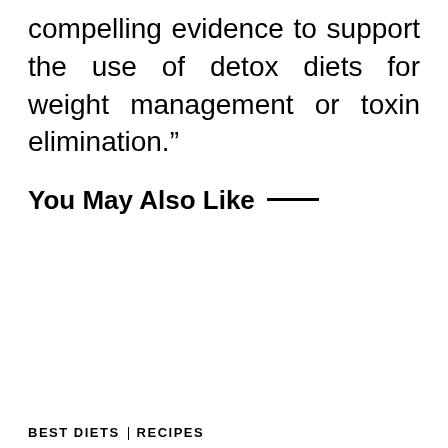compelling evidence to support the use of detox diets for weight management or toxin elimination."
You May Also Like —
BEST DIETS  RECIPES